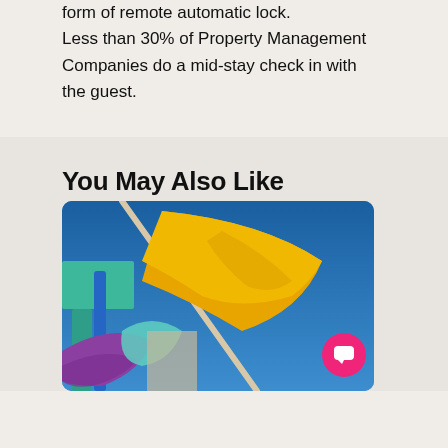form of remote automatic lock. Less than 30% of Property Management Companies do a mid-stay check in with the guest.
You May Also Like
[Figure (photo): Photo of colorful flags (yellow, purple, teal/green) against a bright blue sky, with a teal metal structure visible]